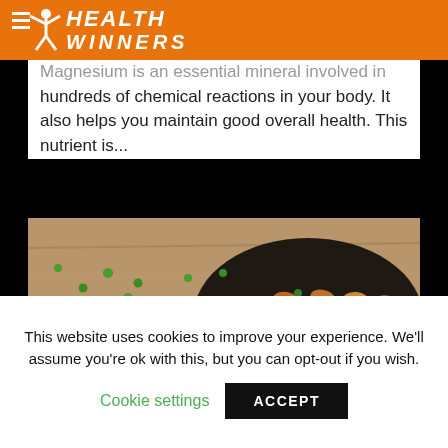HEALTH WINNERS
Magnesium is an essential mineral involved in hundreds of chemical reactions in your body. It also helps you maintain good overall health. This nutrient is...
[Figure (photo): A dark bowl filled with roasted peanuts/beans and green peas scattered on a wooden surface]
This website uses cookies to improve your experience. We'll assume you're ok with this, but you can opt-out if you wish. Cookie settings ACCEPT